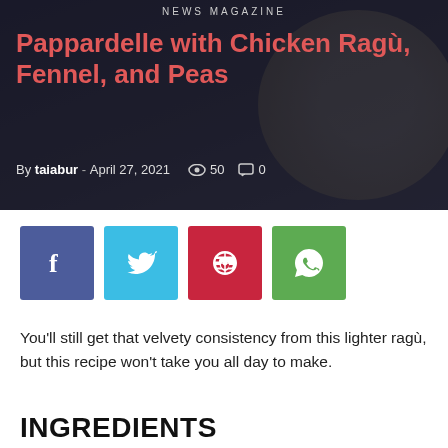NEWS MAGAZINE
Pappardelle with Chicken Ragù, Fennel, and Peas
By taiabur - April 27, 2021  👁 50  💬 0
[Figure (infographic): Four social share buttons: Facebook (blue), Twitter (cyan), Pinterest (red), WhatsApp (green)]
You'll still get that velvety consistency from this lighter ragù, but this recipe won't take you all day to make.
INGREDIENTS
2 tablespoons olive oil
6 ounces bacon, thinly sliced
1 1/2 pounds skin-on, bone-in chicken thighs (about 6 total)